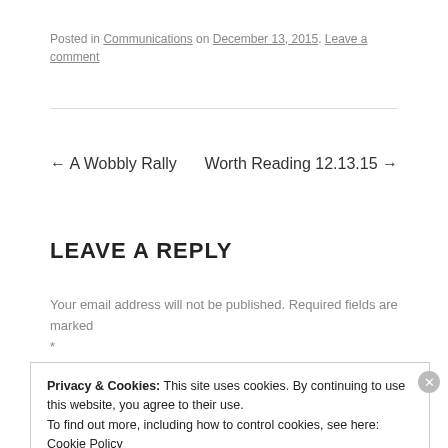Posted in Communications on December 13, 2015. Leave a comment
← A Wobbly Rally
Worth Reading 12.13.15 →
LEAVE A REPLY
Your email address will not be published. Required fields are marked *
Privacy & Cookies: This site uses cookies. By continuing to use this website, you agree to their use. To find out more, including how to control cookies, see here: Cookie Policy
Close and accept